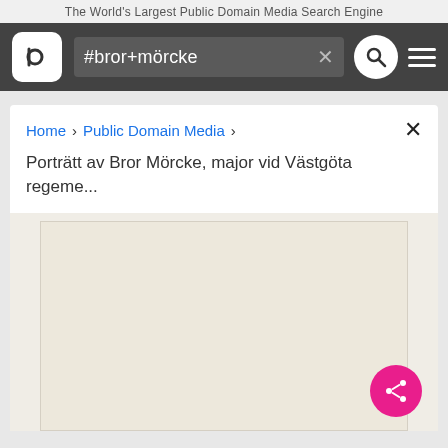The World's Largest Public Domain Media Search Engine
#bror+mörcke
Home  >  Public Domain Media  >
Porträtt av Bror Mörcke, major vid Västgöta regeme...
[Figure (photo): Back side of an aged parchment or paper document, cream/beige colored, showing texture and minor specks. The document appears blank on the visible side.]